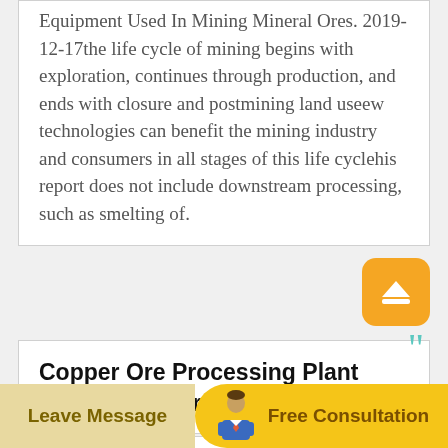Equipment Used In Mining Mineral Ores. 2019-12-17the life cycle of mining begins with exploration, continues through production, and ends with closure and postmining land useew technologies can benefit the mining industry and consumers in all stages of this life cyclehis report does not include downstream processing, such as smelting of.
Copper Ore Processing Plant Equipment For Sale Prominer
Submit your requirement below for mineral processing proposal! Please contact whatsapp number via +86 13918045927 for detailed
Leave Message | Free Consultation